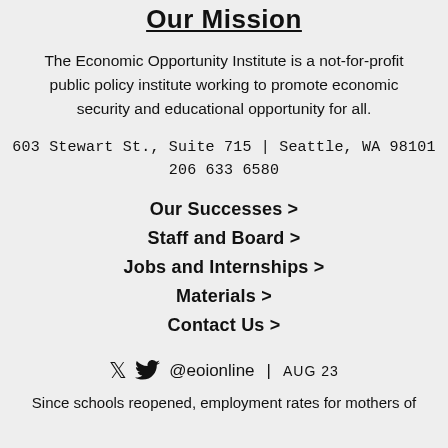Our Mission
The Economic Opportunity Institute is a not-for-profit public policy institute working to promote economic security and educational opportunity for all.
603 Stewart St., Suite 715 | Seattle, WA 98101
206 633 6580
Our Successes >
Staff and Board >
Jobs and Internships >
Materials >
Contact Us >
@eoionline | AUG 23
Since schools reopened, employment rates for mothers of